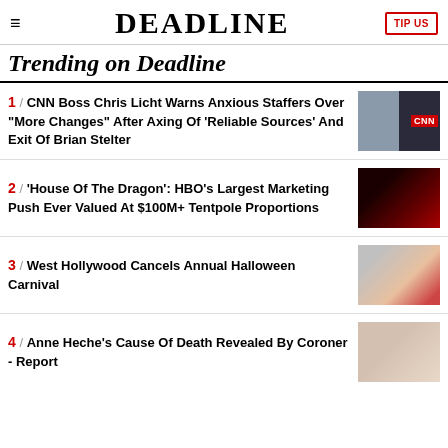DEADLINE | TIP US
Trending on Deadline
1 / CNN Boss Chris Licht Warns Anxious Staffers Over "More Changes" After Axing Of 'Reliable Sources' And Exit Of Brian Stelter
2 / 'House Of The Dragon': HBO's Largest Marketing Push Ever Valued At $100M+ Tentpole Proportions
3 / West Hollywood Cancels Annual Halloween Carnival
4 / Anne Heche's Cause Of Death Revealed By Coroner - Report